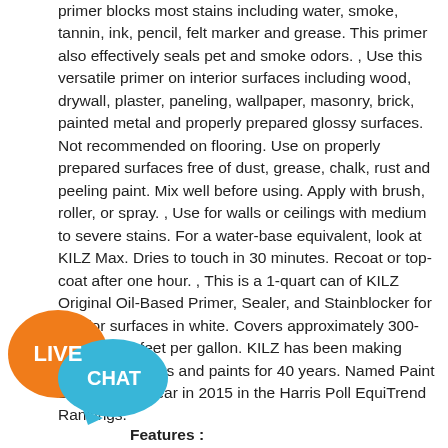primer blocks most stains including water, smoke, tannin, ink, pencil, felt marker and grease. This primer also effectively seals pet and smoke odors. , Use this versatile primer on interior surfaces including wood, drywall, plaster, paneling, wallpaper, masonry, brick, painted metal and properly prepared glossy surfaces. Not recommended on flooring. Use on properly prepared surfaces free of dust, grease, chalk, rust and peeling paint. Mix well before using. Apply with brush, roller, or spray. , Use for walls or ceilings with medium to severe stains. For a water-base equivalent, look at KILZ Max. Dries to touch in 30 minutes. Recoat or top-coat after one hour. , This is a 1-quart can of KILZ Original Oil-Based Primer, Sealer, and Stainblocker for interior surfaces in white. Covers approximately 300-400 square feet per gallon. KILZ has been making premium primers and paints for 40 years. Named Paint Brand of the Year in 2015 in the Harris Poll EquiTrend Rankings.
[Figure (other): Live Chat button graphic with two speech bubbles: orange bubble with LIVE text and blue bubble with CHAT text]
Features :